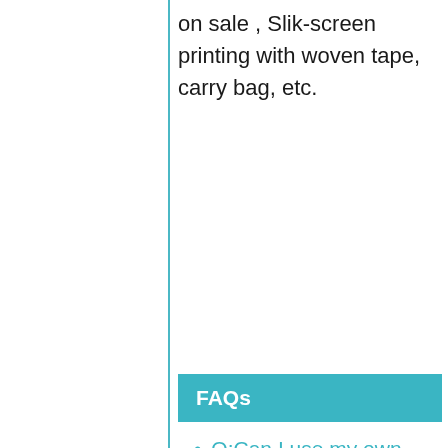on sale , Slik-screen printing with woven tape, carry bag, etc.
FAQs
Q:Can I use my own design&logo?
A:Yes you can,and we will show you the virtual